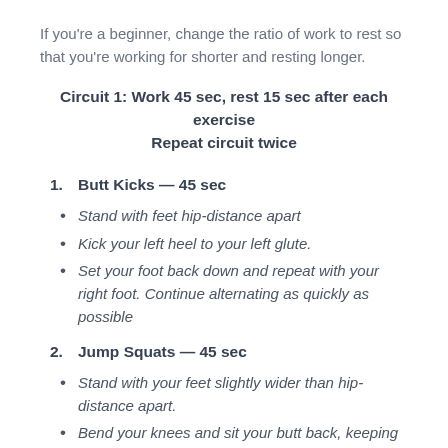If you're a beginner, change the ratio of work to rest so that you're working for shorter and resting longer.
Circuit 1: Work 45 sec, rest 15 sec after each exercise
Repeat circuit twice
1. Butt Kicks — 45 sec
Stand with feet hip-distance apart
Kick your left heel to your left glute.
Set your foot back down and repeat with your right foot. Continue alternating as quickly as possible
2. Jump Squats — 45 sec
Stand with your feet slightly wider than hip-distance apart.
Bend your knees and sit your butt back, keeping your